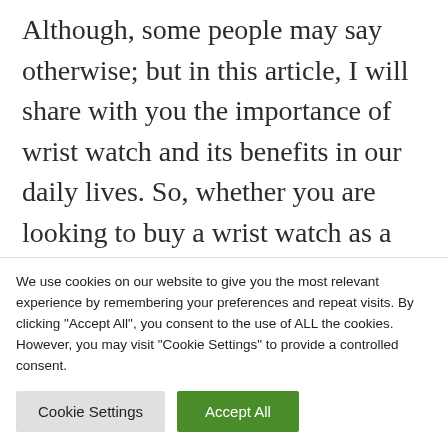Although, some people may say otherwise; but in this article, I will share with you the importance of wrist watch and its benefits in our daily lives. So, whether you are looking to buy a wrist watch as a gift for someone special (Best female wrist watches in modern time); or for personal use, this post will guide you through the main benefits of...
We use cookies on our website to give you the most relevant experience by remembering your preferences and repeat visits. By clicking "Accept All", you consent to the use of ALL the cookies. However, you may visit "Cookie Settings" to provide a controlled consent.